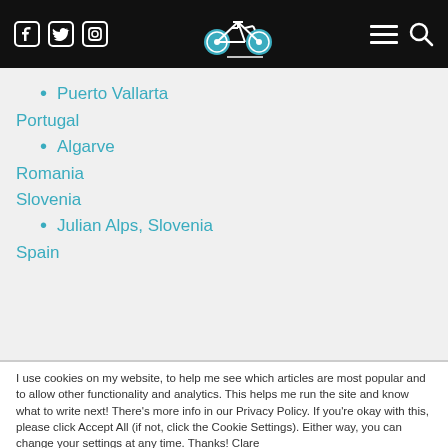Website header with social icons (Facebook, Twitter, Instagram), bicycle logo, hamburger menu, and search icon
Puerto Vallarta
Portugal
Algarve
Romania
Slovenia
Julian Alps, Slovenia
Spain
I use cookies on my website, to help me see which articles are most popular and to allow other functionality and analytics. This helps me run the site and know what to write next! There's more info in our Privacy Policy. If you're okay with this, please click Accept All (if not, click the Cookie Settings). Either way, you can change your settings at any time. Thanks! Clare